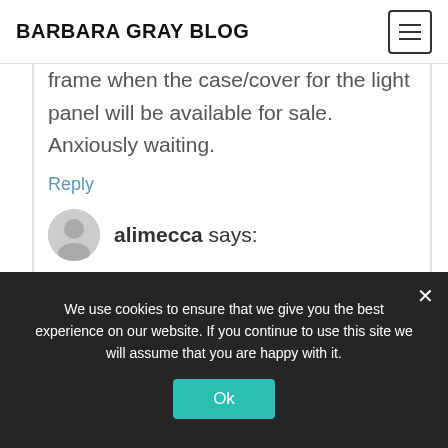BARBARA GRAY BLOG
frame when the case/cover for the light panel will be available for sale. Anxiously waiting.
Reply
alimecca says:
23rd June 2016 at 8:31 pm
Hi Sherry,
We use cookies to ensure that we give you the best experience on our website. If you continue to use this site we will assume that you are happy with it.